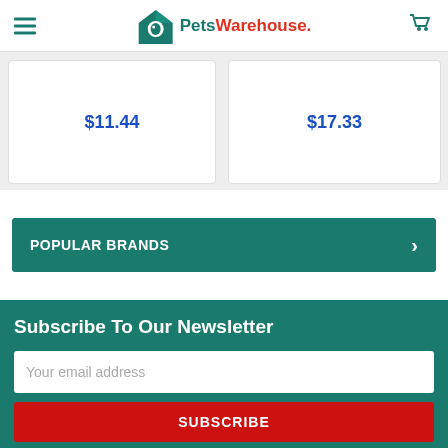Pets Warehouse
$11.44
$17.33
POPULAR BRANDS
Subscribe To Our Newsletter
Your email address
SUBSCRIBE